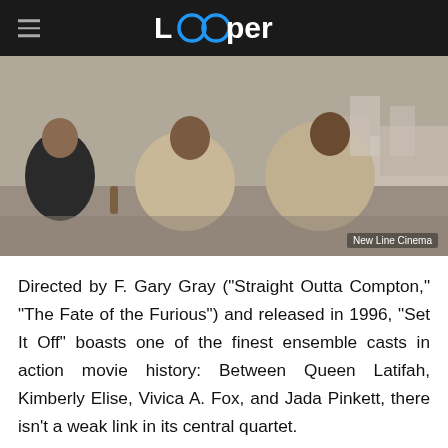Looper
[Figure (photo): Three women sitting on a rooftop, dressed in casual clothing. Film still from 'Set It Off' (1996). Credit: New Line Cinema.]
Directed by F. Gary Gray ("Straight Outta Compton," "The Fate of the Furious") and released in 1996, "Set It Off" boasts one of the finest ensemble casts in action movie history: Between Queen Latifah, Kimberly Elise, Vivica A. Fox, and Jada Pinkett, there isn't a weak link in its central quartet.